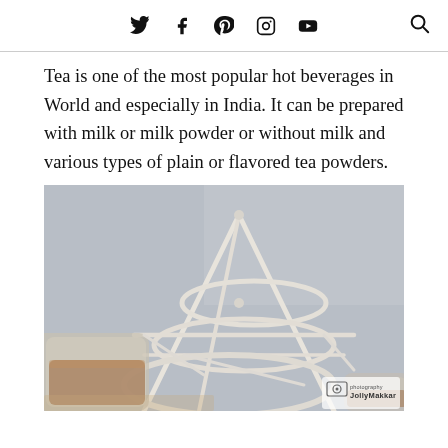Social media icons: Twitter, Facebook, Pinterest, Instagram, YouTube, Search
Tea is one of the most popular hot beverages in World and especially in India. It can be prepared with milk or milk powder or without milk and various types of plain or flavored tea powders.
[Figure (photo): A white wire cup holder rack with glass tea cups on a light blue-grey background, photographed by JollyMakkar.]